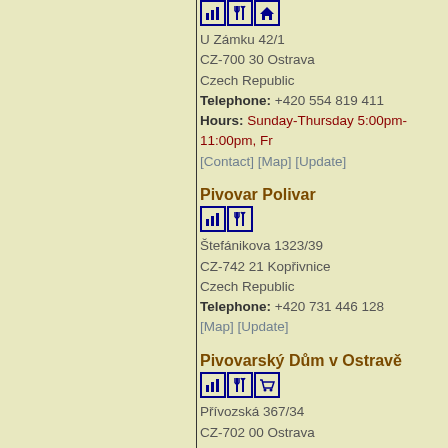U Zámku 42/1
CZ-700 30 Ostrava
Czech Republic
Telephone: +420 554 819 411
Hours: Sunday-Thursday 5:00pm-11:00pm, Fr
[Contact] [Map] [Update]
Pivovar Polivar
Štefánikova 1323/39
CZ-742 21 Kopřivnice
Czech Republic
Telephone: +420 731 446 128
[Map] [Update]
Pivovarský Dům v Ostravě
Přívozská 367/34
CZ-702 00 Ostrava
Czech Republic
Telephone: +420 774 514 198
Hours: Monday-Thursday noon-1:00am, Frida
Brewer: Jiří Štverka
[Contact] [Map] [Update]
Karvinský Pivovar Larische
Polská 117/8